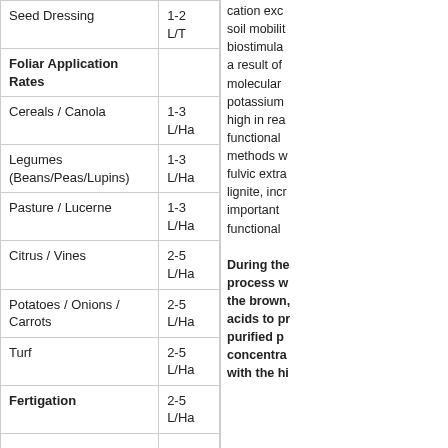| Application Type | Rate |
| --- | --- |
| Seed Dressing | 1-2 L/T |
| Foliar Application Rates |  |
| Cereals / Canola | 1-3 L/Ha |
| Legumes (Beans/Peas/Lupins) | 1-3 L/Ha |
| Pasture / Lucerne | 1-3 L/Ha |
| Citrus / Vines | 2-5 L/Ha |
| Potatoes / Onions / Carrots | 2-5 L/Ha |
| Turf | 2-5 L/Ha |
| Fertigation | 2-5 L/Ha |
|  |  |
| Foliar Nitrogen | 1 L : 10 N |
cation exc soil mobilit biostimula a result of molecular potassium high in rea functional methods w fulvic extr lignite, inc important functional
During the process w the brown, acids to pr purified p concentra with the hi